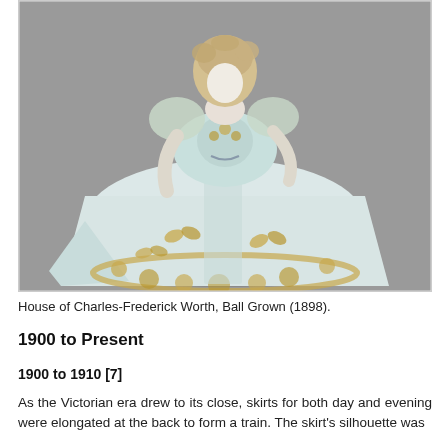[Figure (photo): A mannequin wearing an 1898 ball gown by the House of Charles-Frederick Worth. The dress is pale blue/white satin with gold floral and butterfly embroidery or appliqué, featuring a fitted bodice with puffed shoulders and a large full skirt with a train. The background is grey.]
House of Charles-Frederick Worth, Ball Grown (1898).
1900 to Present
1900 to 1910 [7]
As the Victorian era drew to its close, skirts for both day and evening were elongated at the back to form a train. The skirt's silhouette was